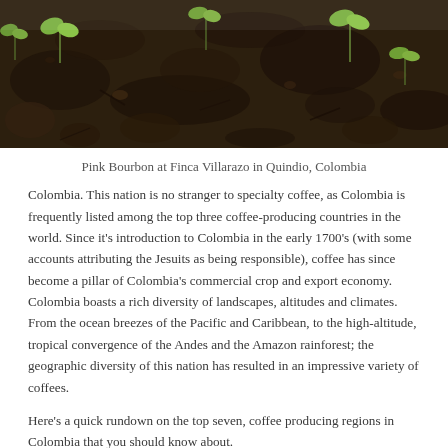[Figure (photo): Close-up photograph of dark soil with small green seedling sprouts emerging, likely coffee seedlings at Finca Villarazo in Quindio, Colombia.]
Pink Bourbon at Finca Villarazo in Quindio, Colombia
Colombia. This nation is no stranger to specialty coffee, as Colombia is frequently listed among the top three coffee-producing countries in the world. Since it's introduction to Colombia in the early 1700's (with some accounts attributing the Jesuits as being responsible), coffee has since become a pillar of Colombia's commercial crop and export economy. Colombia boasts a rich diversity of landscapes, altitudes and climates. From the ocean breezes of the Pacific and Caribbean, to the high-altitude, tropical convergence of the Andes and the Amazon rainforest; the geographic diversity of this nation has resulted in an impressive variety of coffees.
Here's a quick rundown on the top seven, coffee producing regions in Colombia that you should know about.